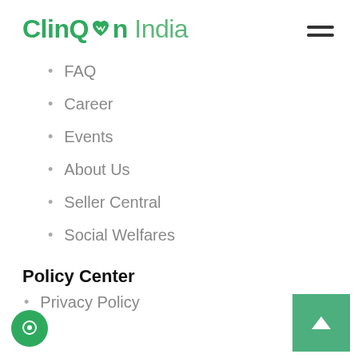ClinQon India
FAQ
Career
Events
About Us
Seller Central
Social Welfares
Policy Center
Privacy Policy